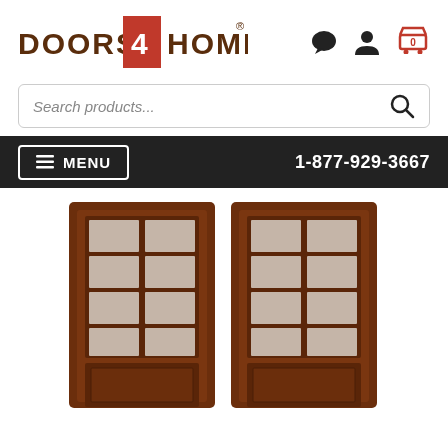[Figure (logo): Doors 4 Home logo with red door icon and brand name]
[Figure (screenshot): Search bar with placeholder text 'Search products...' and search icon]
≡ MENU
1-877-929-3667
[Figure (photo): Pair of dark walnut wood French double doors with 8-lite glass panels and bottom raised panel, shown as a matched pair]